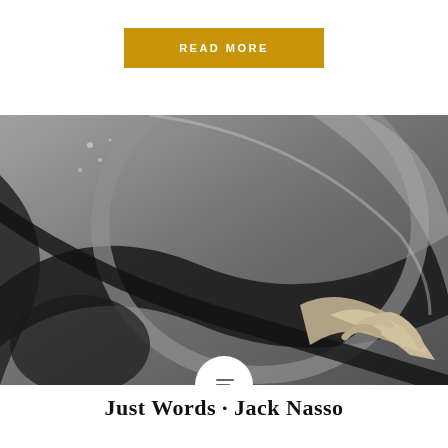READ MORE
[Figure (photo): Black and white close-up photograph of a person's hand playing what appears to be a large musical instrument or drum, with curved metallic or wooden forms visible in the background.]
Just Words · Jack Nasso